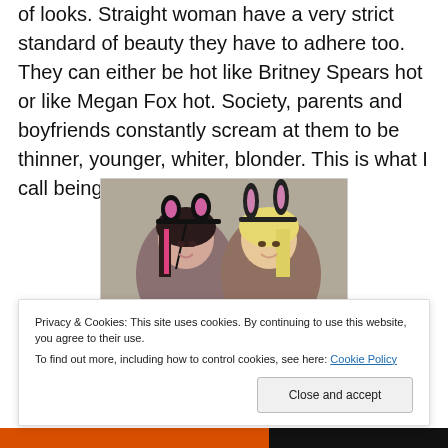of looks. Straight woman have a very strict standard of beauty they have to adhere too. They can either be hot like Britney Spears hot or like Megan Fox hot. Society, parents and boyfriends constantly scream at them to be thinner, younger, whiter, blonder. This is what I call being “conventionally attractive.”
[Figure (photo): Two young women wearing novelty animal ear headbands (cat ears and bunny ears), one with dark hair with pink highlights, one with blonde hair, both smiling.]
Privacy & Cookies: This site uses cookies. By continuing to use this website, you agree to their use.
To find out more, including how to control cookies, see here: Cookie Policy